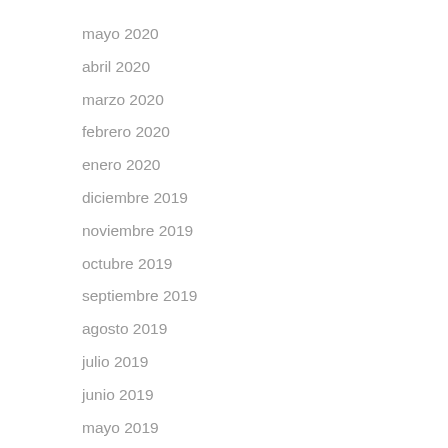mayo 2020
abril 2020
marzo 2020
febrero 2020
enero 2020
diciembre 2019
noviembre 2019
octubre 2019
septiembre 2019
agosto 2019
julio 2019
junio 2019
mayo 2019
abril 2019